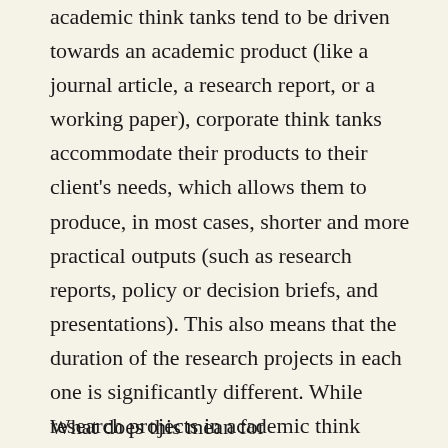academic think tanks tend to be driven towards an academic product (like a journal article, a research report, or a working paper), corporate think tanks accommodate their products to their client's needs, which allows them to produce, in most cases, shorter and more practical outputs (such as research reports, policy or decision briefs, and presentations). This also means that the duration of the research projects in each one is significantly different. While research projects in academic think tanks may last from several months to even years, in corporate think tanks projects last from two or three weeks to a couple of months top.
What does this mean for